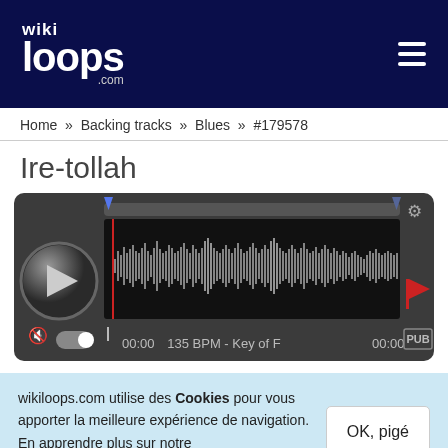wikiloops.com
Home » Backing tracks » Blues » #179578
Ire-tollah
[Figure (screenshot): Audio player with waveform visualization, play button, scrubber, volume toggle, PUB button, settings gear, flag icon. Shows 135 BPM - Key of F, time 00:00 / 00:00.]
wikiloops.com utilise des Cookies pour vous apporter la meilleure expérience de navigation. En apprendre plus sur notre charte des données privées .